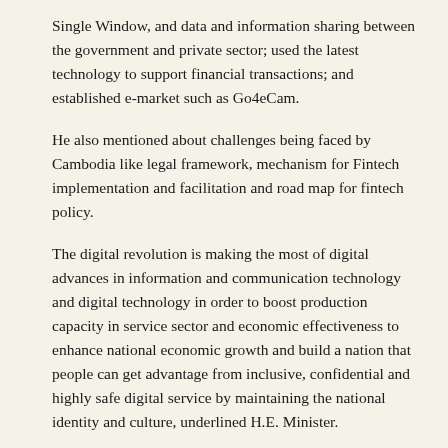Single Window, and data and information sharing between the government and private sector; used the latest technology to support financial transactions; and established e-market such as Go4eCam.
He also mentioned about challenges being faced by Cambodia like legal framework, mechanism for Fintech implementation and facilitation and road map for fintech policy.
The digital revolution is making the most of digital advances in information and communication technology and digital technology in order to boost production capacity in service sector and economic effectiveness to enhance national economic growth and build a nation that people can get advantage from inclusive, confidential and highly safe digital service by maintaining the national identity and culture, underlined H.E. Minister.
Source: Agency Kampuchea Press